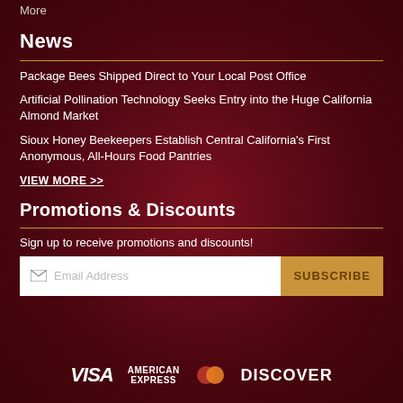More
News
Package Bees Shipped Direct to Your Local Post Office
Artificial Pollination Technology Seeks Entry into the Huge California Almond Market
Sioux Honey Beekeepers Establish Central California's First Anonymous, All-Hours Food Pantries
VIEW MORE >>
Promotions & Discounts
Sign up to receive promotions and discounts!
[Figure (other): Email subscription form with email address input and SUBSCRIBE button]
[Figure (other): Payment logos: VISA, AMERICAN EXPRESS, Mastercard, DISCOVER]